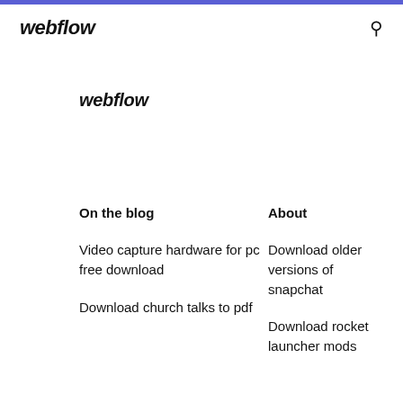webflow
webflow
On the blog
About
Video capture hardware for pc free download
Download older versions of snapchat
Download church talks to pdf
Download rocket launcher mods